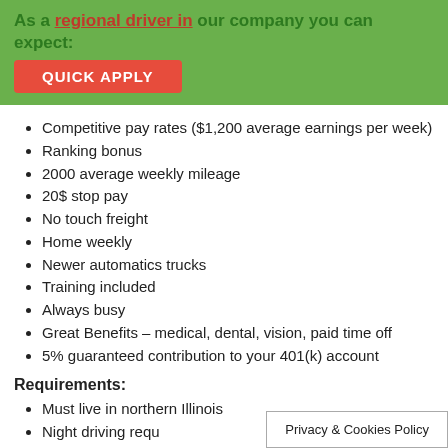As a regional driver in our company you can expect:
QUICK APPLY
Competitive pay rates ($1,200 average earnings per week)
Ranking bonus
2000 average weekly mileage
20$ stop pay
No touch freight
Home weekly
Newer automatics trucks
Training included
Always busy
Great Benefits – medical, dental, vision, paid time off
5% guaranteed contribution to your 401(k) account
Requirements:
Must live in northern Illinois
Night driving requ...
Privacy & Cookies Policy